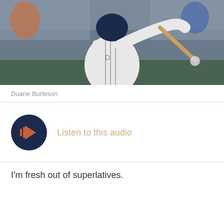[Figure (photo): Baseball player in white uniform swinging a bat, photographed mid-swing during a game. Photo credit: Duane Burleson]
Duane Burleson
[Figure (other): Audio player button - dark navy circular play button with orange soundwave/play icon, with text 'Listen to this audio']
I'm fresh out of superlatives.